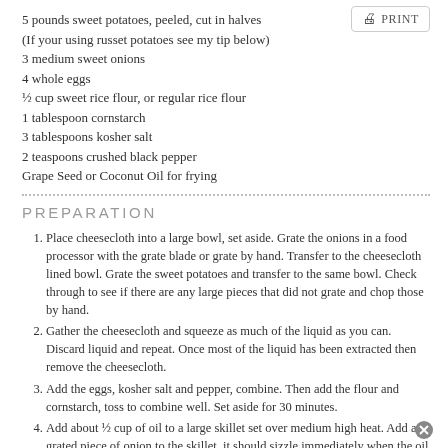5 pounds sweet potatoes, peeled, cut in halves (If your using russet potatoes see my tip below)
3 medium sweet onions
4 whole eggs
½ cup sweet rice flour, or regular rice flour
1 tablespoon cornstarch
3 tablespoons kosher salt
2 teaspoons crushed black pepper
Grape Seed or Coconut Oil for frying
PREPARATION
Place cheesecloth into a large bowl, set aside. Grate the onions in a food processor with the grate blade or grate by hand. Transfer to the cheesecloth lined bowl. Grate the sweet potatoes and transfer to the same bowl. Check through to see if there are any large pieces that did not grate and chop those by hand.
Gather the cheesecloth and squeeze as much of the liquid as you can. Discard liquid and repeat. Once most of the liquid has been extracted then remove the cheesecloth.
Add the eggs, kosher salt and pepper, combine. Then add the flour and cornstarch, toss to combine well. Set aside for 30 minutes.
Add about ½ cup of oil to a large skillet set over medium high heat. Add a grated piece of onion to the skillet, it should sizzle immediately when the oil is ready for frying.
Grab a handful of the mixture and squeeze it in your hands releasing as much liquid as possible to form a patty.
Place latkes in the skillet leaving enough space between each to brown well. When the bottoms have browned (about 3 minutes) fli